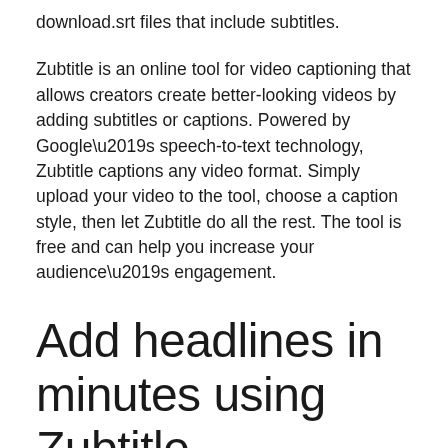download.srt files that include subtitles.
Zubtitle is an online tool for video captioning that allows creators create better-looking videos by adding subtitles or captions. Powered by Google’s speech-to-text technology, Zubtitle captions any video format. Simply upload your video to the tool, choose a caption style, then let Zubtitle do all the rest. The tool is free and can help you increase your audience’s engagement.
Add headlines in minutes using Zubtitle